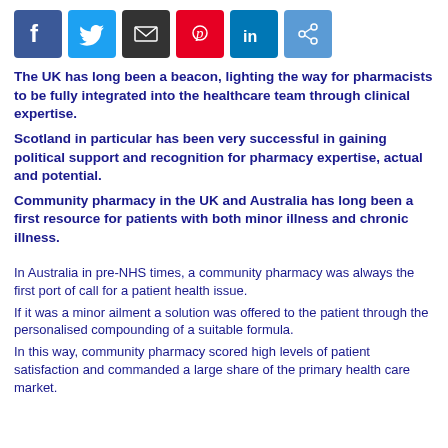[Figure (other): Social media sharing icons: Facebook, Twitter, Email, Pinterest, LinkedIn, Share]
The UK has long been a beacon, lighting the way for pharmacists to be fully integrated into the healthcare team through clinical expertise.
Scotland in particular has been very successful in gaining political support and recognition for pharmacy expertise, actual and potential.
Community pharmacy in the UK and Australia has long been a first resource for patients with both minor illness and chronic illness.
In Australia in pre-NHS times, a community pharmacy was always the first port of call for a patient health issue.
If it was a minor ailment a solution was offered to the patient through the personalised compounding of a suitable formula.
In this way, community pharmacy scored high levels of patient satisfaction and commanded a large share of the primary health care market.